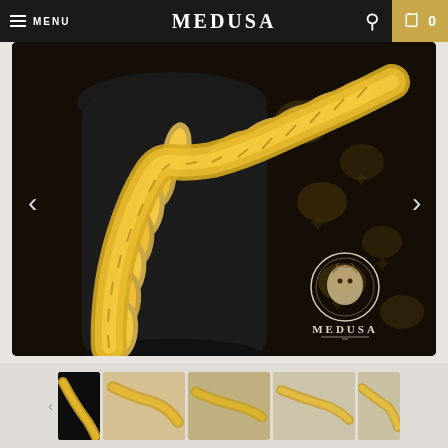MENU  MEDUSA  🔍  🛒 0
[Figure (photo): Close-up photo of a large gold Cuban link chain necklace displayed on a black jewelry bust/display stand, with a dark background featuring a brown patterned fabric. A Medusa brand watermark with a lion/medusa head logo and the text MEDUSA appears in the bottom right corner of the image.]
[Figure (photo): Thumbnail strip showing 5 small preview images of gold chain necklaces from different angles. The first thumbnail on the left is partially cut off, and the last on the right is also partially cut off.]